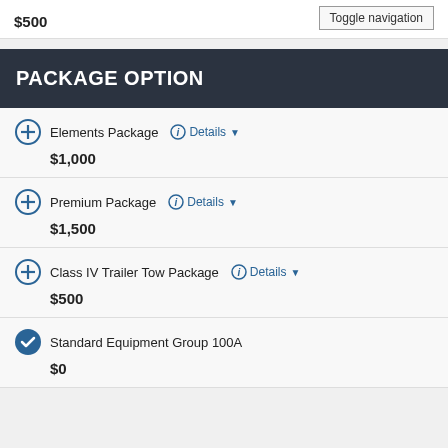$500
Toggle navigation
PACKAGE OPTION
Elements Package  Details  $1,000
Premium Package  Details  $1,500
Class IV Trailer Tow Package  Details  $500
Standard Equipment Group 100A  $0